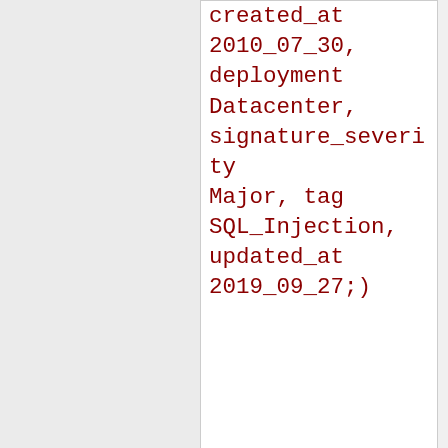db.com/exploits/3232/; reference:url,doc.emergin classtype:web-application-attack; sid:2005073; rev:8; metadata:affected_produ Web_Server_Applications attack_target Web_Server, created_at 2010_07_30, deployment Datacenter, signature_severity Major, tag SQL_Injection, updated_at 2019_09_27;)
Added 2020-08-05 19:02:55 UTC